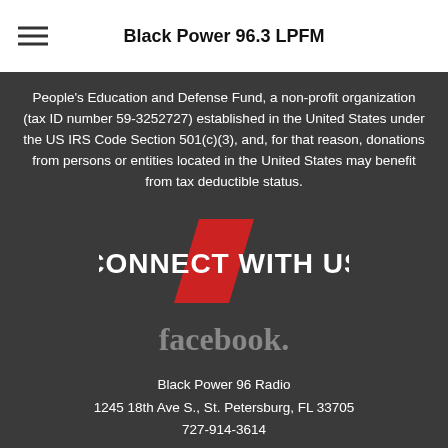Black Power 96.3 LPFM
People's Education and Defense Fund, a non-profit organization (tax ID number 59-3252727) established in the United States under the US IRS Code Section 501(c)(3), and, for that reason, donations from persons or entities located in the United States may benefit from tax deductible status.
[Figure (logo): CONNECT WITH US logo with red lightning bolt/slash graphic]
[Figure (logo): Facebook wordmark in grey]
Black Power 96 Radio
1245 18th Ave S., St. Petersburg, FL 33705
727-914-3614